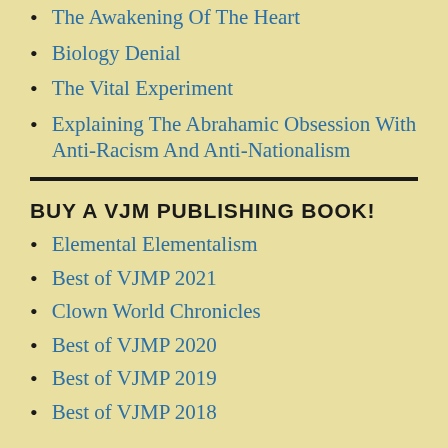The Awakening Of The Heart
Biology Denial
The Vital Experiment
Explaining The Abrahamic Obsession With Anti-Racism And Anti-Nationalism
BUY A VJM PUBLISHING BOOK!
Elemental Elementalism
Best of VJMP 2021
Clown World Chronicles
Best of VJMP 2020
Best of VJMP 2019
Best of VJMP 2018